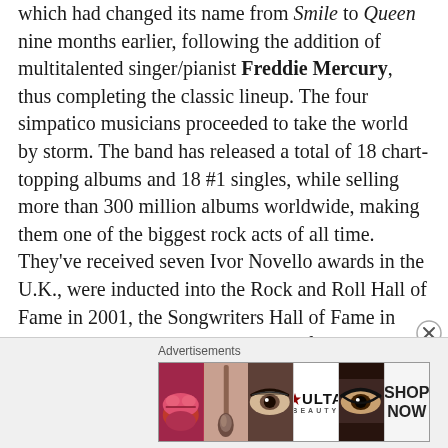which had changed its name from Smile to Queen nine months earlier, following the addition of multitalented singer/pianist Freddie Mercury, thus completing the classic lineup. The four simpatico musicians proceeded to take the world by storm. The band has released a total of 18 chart-topping albums and 18 #1 singles, while selling more than 300 million albums worldwide, making them one of the biggest rock acts of all time. They've received seven Ivor Novello awards in the U.K., were inducted into the Rock and Roll Hall of Fame in 2001, the Songwriters Hall of Fame in 2003, the UK Rock and Roll Hall of Fame in 2004, and even received their own star on the Hollywood Walk of Fame, in October 2002.
[Figure (other): Advertisements banner for ULTA Beauty with images of lips with red lipstick, makeup brush, eye with dramatic makeup, ULTA Beauty logo, another dramatic eye, and SHOP NOW call to action.]